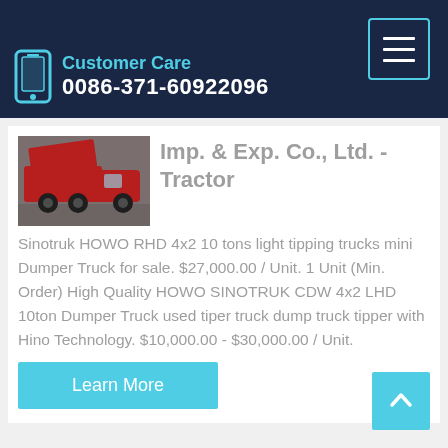Customer Care
0086-371-60922096
Imp. & Exp. Co., Ltd. - Tractor
Sinotruk HOWO RHD 4x2 10 tons light tipping trucks mini Dumper Truck for sale. $27,000.00 / Unit. 1 Unit (Min. Order) High Quality HOWO SINOTRUK CDW 4x2 LHD 10ton Dumper Truck used tiper truck dump truck tipper with Hino Technology. $10,000.00 - $30,000.00 / Unit.
[Figure (photo): Red dump truck / tipper truck photo]
Learn More